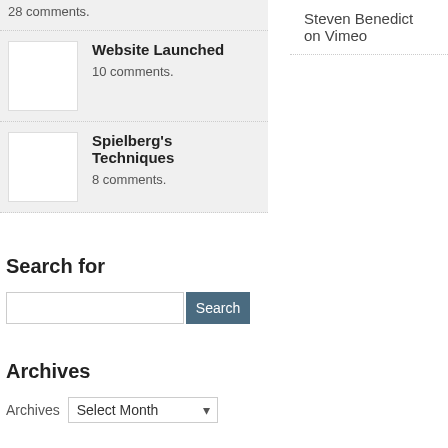28 comments.
Website Launched
10 comments.
Spielberg's Techniques
8 comments.
Steven Benedict on Vimeo
Search for
Search
Archives
Archives  Select Month